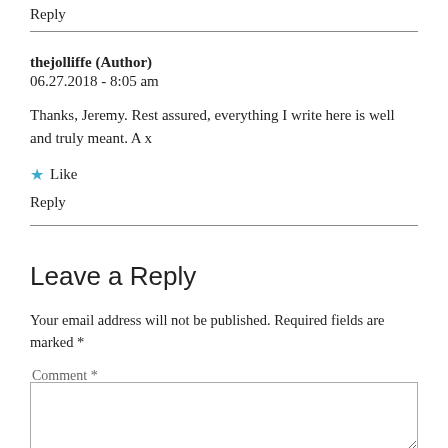Reply
thejolliffe (Author)
06.27.2018 - 8:05 am
Thanks, Jeremy. Rest assured, everything I write here is well and truly meant. A x
Like
Reply
Leave a Reply
Your email address will not be published. Required fields are marked *
Comment *